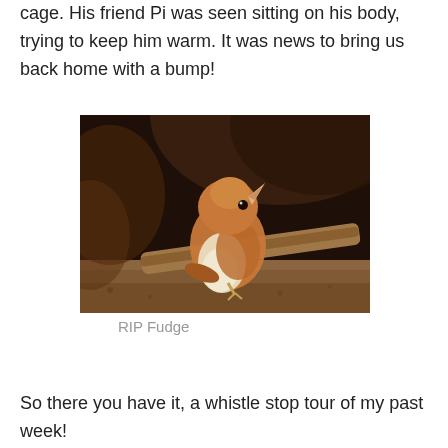cage. His friend Pi was seen sitting on his body, trying to keep him warm. It was news to bring us back home with a bump!
[Figure (photo): A small brown and white bird (Fudge) perched on a surface, photographed in a dark cave-like environment. The bird has orange-brown feathers on its head and back, and a lighter chest.]
RIP Fudge
So there you have it, a whistle stop tour of my past week!